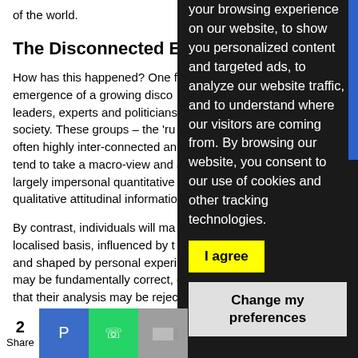of the world.
The Disconnected Expert
How has this happened? One f… emergence of a growing disco… leaders, experts and politicians… society. These groups – the 'ru… often highly inter-connected an… tend to take a macro-view and a… largely impersonal quantitative … qualitative attitudinal informatio…
By contrast, individuals will ma… localised basis, influenced by t… and shaped by personal experi… may be fundamentally correct, c… that their analysis may be rejec… to contradict personal experien…
If expected experts appear…
your browsing experience on our website, to show you personalized content and targeted ads, to analyze our website traffic, and to understand where our visitors are coming from. By browsing our website, you consent to our use of cookies and other tracking technologies.
I agree
Change my preferences
2
Share